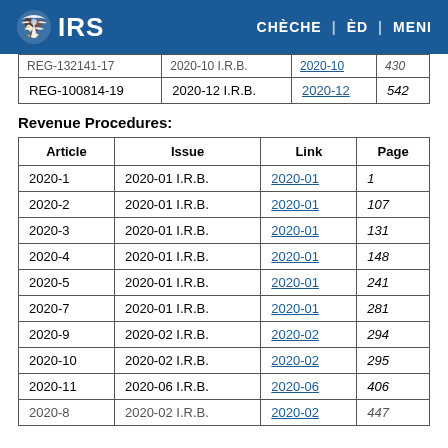IRS | CHÈCHE | ÈD | MENI
| Article | Issue | Link | Page |
| --- | --- | --- | --- |
| REG-132141-17 | 2020-10 I.R.B. | 2020-10 | 430 |
| REG-100814-19 | 2020-12 I.R.B. | 2020-12 | 542 |
Revenue Procedures:
| Article | Issue | Link | Page |
| --- | --- | --- | --- |
| 2020-1 | 2020-01 I.R.B. | 2020-01 | 1 |
| 2020-2 | 2020-01 I.R.B. | 2020-01 | 107 |
| 2020-3 | 2020-01 I.R.B. | 2020-01 | 131 |
| 2020-4 | 2020-01 I.R.B. | 2020-01 | 148 |
| 2020-5 | 2020-01 I.R.B. | 2020-01 | 241 |
| 2020-7 | 2020-01 I.R.B. | 2020-01 | 281 |
| 2020-9 | 2020-02 I.R.B. | 2020-02 | 294 |
| 2020-10 | 2020-02 I.R.B. | 2020-02 | 295 |
| 2020-11 | 2020-06 I.R.B. | 2020-06 | 406 |
| 2020-8 | 2020-02 I.R.B. | 2020-02 | 447 |